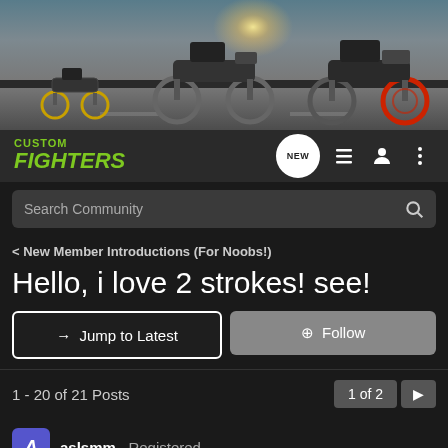[Figure (photo): Banner image showing multiple motorcycles on a road with a bright light source in the background]
CUSTOM FIGHTERS
Search Community
< New Member Introductions (For Noobs!)
Hello, i love 2 strokes! see!
→ Jump to Latest
+ Follow
1 - 20 of 21 Posts
1 of 2
aslsmm · Registered